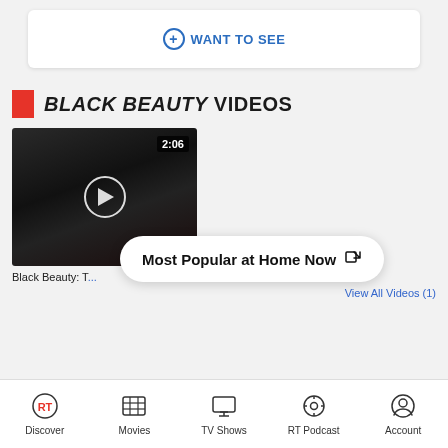+ WANT TO SEE
BLACK BEAUTY VIDEOS
[Figure (screenshot): Video thumbnail showing a dark-haired woman's face in close-up, with a 2:06 duration badge and a play button overlay]
Black Beauty: T...
Most Popular at Home Now
View All Videos (1)
Discover  Movies  TV Shows  RT Podcast  Account